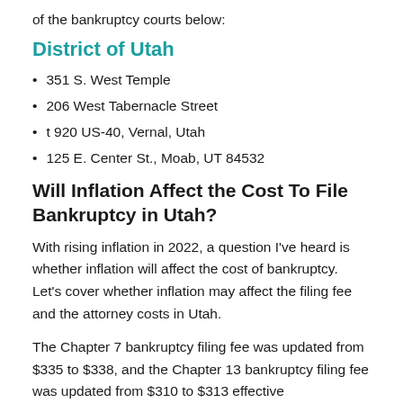of the bankruptcy courts below:
District of Utah
351 S. West Temple
206 West Tabernacle Street
t 920 US-40, Vernal, Utah
125 E. Center St., Moab, UT 84532
Will Inflation Affect the Cost To File Bankruptcy in Utah?
With rising inflation in 2022, a question I've heard is whether inflation will affect the cost of bankruptcy. Let's cover whether inflation may affect the filing fee and the attorney costs in Utah.
The Chapter 7 bankruptcy filing fee was updated from $335 to $338, and the Chapter 13 bankruptcy filing fee was updated from $310 to $313 effective